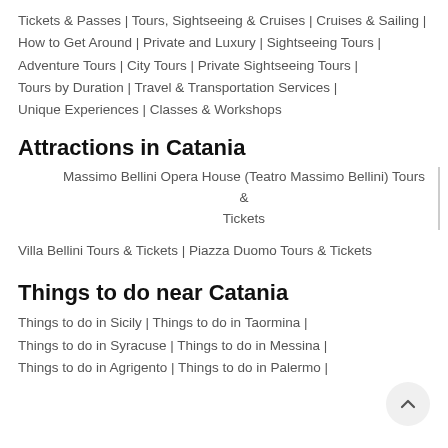Tickets & Passes | Tours, Sightseeing & Cruises | Cruises & Sailing | How to Get Around | Private and Luxury | Sightseeing Tours | Adventure Tours | City Tours | Private Sightseeing Tours | Tours by Duration | Travel & Transportation Services | Unique Experiences | Classes & Workshops
Attractions in Catania
Massimo Bellini Opera House (Teatro Massimo Bellini) Tours & Tickets
Villa Bellini Tours & Tickets | Piazza Duomo Tours & Tickets
Things to do near Catania
Things to do in Sicily | Things to do in Taormina | Things to do in Syracuse | Things to do in Messina | Things to do in Agrigento | Things to do in Palermo |